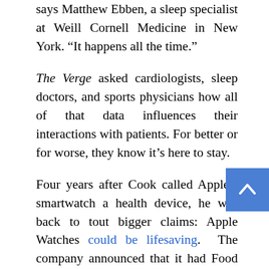says Matthew Ebben, a sleep specialist at Weill Cornell Medicine in New York. “It happens all the time.”
The Verge asked cardiologists, sleep doctors, and sports physicians how all of that data influences their interactions with patients. For better or for worse, they know it’s here to stay.
Four years after Cook called Apple’s smartwatch a health device, he was back to tout bigger claims: Apple Watches could be lifesaving. The company announced that it had Food and Drug Administration clearance for an app that could detect irregular heart rhythms. The Apple Watch was now officially a medical device and was allowed to tell people that they might have a medical problem.
The app was a big step for Apple, and a big step for smartwatches generally — soon after, Fitbit, Withings, and Samsung all added programs to detect irregular heart rhythms. Today, cardiologists are seeing more patients